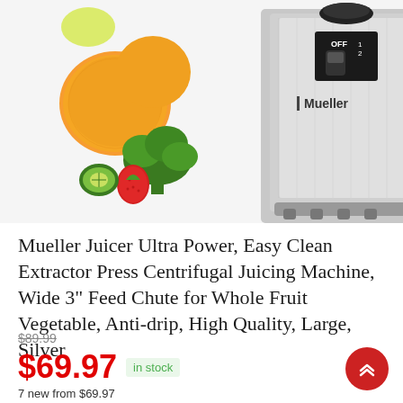[Figure (photo): Mueller juicer product photo showing a silver centrifugal juicer with fruits and vegetables on the left and a glass of green juice on the right]
Mueller Juicer Ultra Power, Easy Clean Extractor Press Centrifugal Juicing Machine, Wide 3" Feed Chute for Whole Fruit Vegetable, Anti-drip, High Quality, Large, Silver
$89.99 (strikethrough)
$69.97  in stock
7 new from $69.97